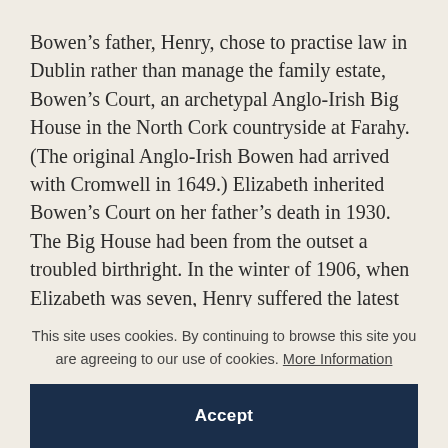Bowen's father, Henry, chose to practise law in Dublin rather than manage the family estate, Bowen's Court, an archetypal Anglo-Irish Big House in the North Cork countryside at Farahy. (The original Anglo-Irish Bowen had arrived with Cromwell in 1649.) Elizabeth inherited Bowen's Court on her father's death in 1930. The Big House had been from the outset a troubled birthright. In the winter of 1906, when Elizabeth was seven, Henry suffered the latest in a series of breakdowns
This site uses cookies. By continuing to browse this site you are agreeing to our use of cookies. More Information
Accept